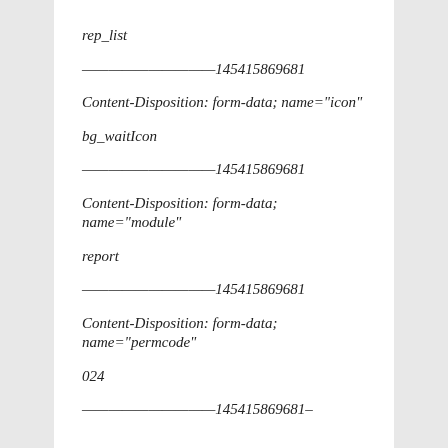rep_list
──────────────────145415869681
Content-Disposition: form-data; name="icon"
bg_waitIcon
──────────────────145415869681
Content-Disposition: form-data; name="module"
report
──────────────────145415869681
Content-Disposition: form-data; name="permcode"
024
──────────────────145415869681–